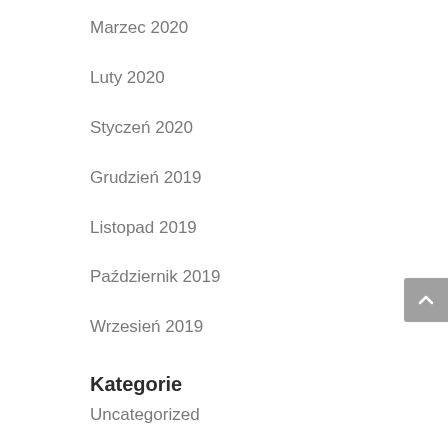Marzec 2020
Luty 2020
Styczeń 2020
Grudzień 2019
Listopad 2019
Październik 2019
Wrzesień 2019
Kategorie
Uncategorized
Meta
Zaloguj się
Kanał wpisów